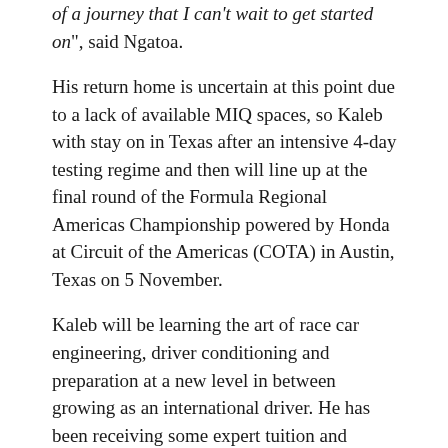of a journey that I can't wait to get started on", said Ngatoa.
His return home is uncertain at this point due to a lack of available MIQ spaces, so Kaleb with stay on in Texas after an intensive 4-day testing regime and then will line up at the final round of the Formula Regional Americas Championship powered by Honda at Circuit of the Americas (COTA) in Austin, Texas on 5 November.
Kaleb will be learning the art of race car engineering, driver conditioning and preparation at a new level in between growing as an international driver. He has been receiving some expert tuition and mentoring from another Kiwi legend, Shane van Gisbergen, who highly rates the Man-from-Marton since watching him race in various categories here and in Australia, even in the various E-Series events during COVID lockdowns.